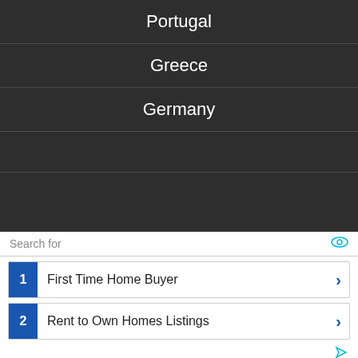Portugal
Greece
Germany
Search for
1 First Time Home Buyer
2 Rent to Own Homes Listings